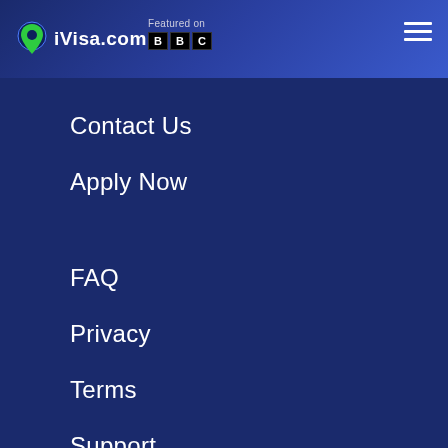iVisa.com — Featured on BBC
Contact Us
Apply Now
FAQ
Privacy
Terms
Support
Blog